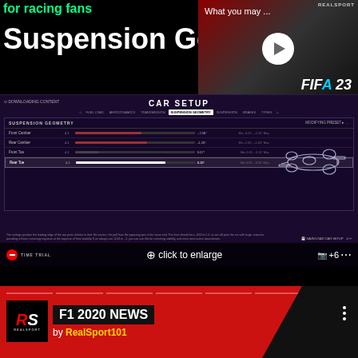Suspension Geometry
[Figure (screenshot): Video thumbnail showing FIFA 23 with play button overlay and 'What you may ...' text]
[Figure (screenshot): F1 game CAR SETUP screen showing Suspension Geometry tab with settings for Front Camber, Rear Camber, Front Toe, Rear Toe sliders, an F1 car outline illustration, TIME TRIAL mode, and 'click to enlarge' overlay]
[Figure (screenshot): RealSport101 F1 2020 NEWS card with logo, title 'F1 2020 NEWS by RealSport101' on red background]